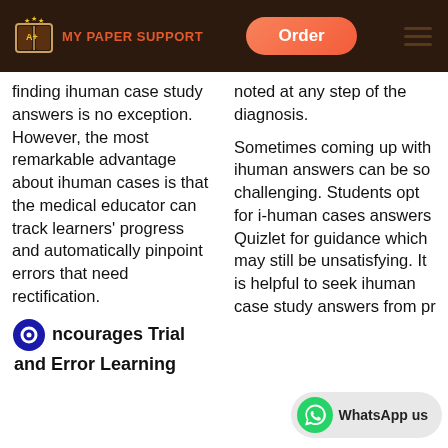MY PAPER SUPPORT | Order
finding ihuman case study answers is no exception. However, the most remarkable advantage about ihuman cases is that the medical educator can track learners' progress and automatically pinpoint errors that need rectification.
noted at any step of the diagnosis.

Sometimes coming up with ihuman answers can be so challenging. Students opt for i-human cases answers Quizlet for guidance which may still be unsatisfying. It is helpful to seek ihuman case study answers from pr...
Encourages Trial and Error Learning